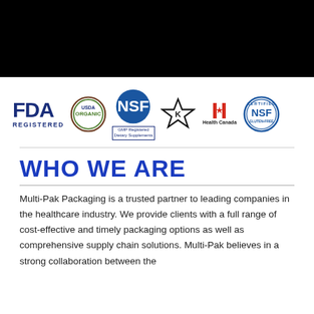[Figure (logo): Black banner bar at top of page]
[Figure (infographic): Row of certification logos: FDA Registered, USDA Organic, NSF GMP Registered Dietary Supplements, Kosher K star, Health Canada, NSF Certified Gluten-Free]
WHO WE ARE
Multi-Pak Packaging is a trusted partner to leading companies in the healthcare industry. We provide clients with a full range of cost-effective and timely packaging options as well as comprehensive supply chain solutions. Multi-Pak believes in a strong collaboration between the